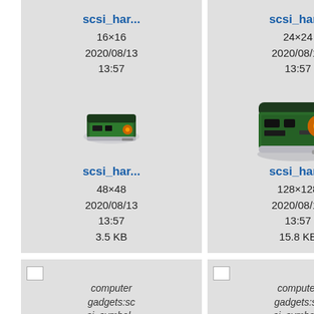[Figure (screenshot): File browser grid showing SCSI hard drive icon files at various sizes. Row 1: scsi_har... 16x16 2020/08/13 13:57 887 B; scsi_har... 24x24 2020/08/13 13:57 1.3 KB; partial third card. Row 2: scsi_har... 48x48 2020/08/13 13:57 3.5 KB with hard drive icon; scsi_har... 128x128 2020/08/13 13:57 15.8 KB with larger hard drive icon; partial third card. Row 3: computer gadgets:scsi_symbol_16.png (broken image); computer gadgets:scsi_symbol_24.png (broken image); partial third card.]